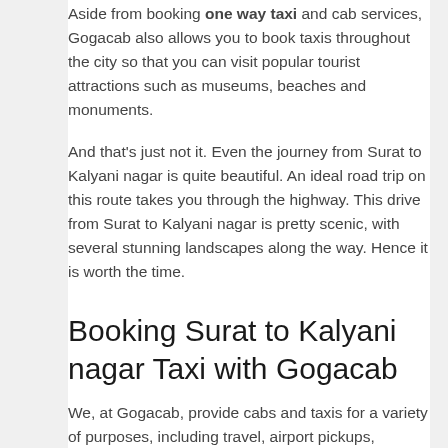Aside from booking one way taxi and cab services, Gogacab also allows you to book taxis throughout the city so that you can visit popular tourist attractions such as museums, beaches and monuments.
And that's just not it. Even the journey from Surat to Kalyani nagar is quite beautiful. An ideal road trip on this route takes you through the highway. This drive from Surat to Kalyani nagar is pretty scenic, with several stunning landscapes along the way. Hence it is worth the time.
Booking Surat to Kalyani nagar Taxi with Gogacab
We, at Gogacab, provide cabs and taxis for a variety of purposes, including travel, airport pickups, subway pickups, city tours, emergency pickups, picnic tours, and business trips. We also provide sedan services. We also offer one way trips